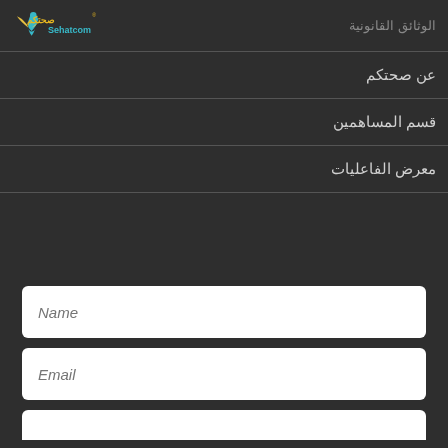الوثائق القانونية
[Figure (logo): Sehatcom logo with teal and gold bird/person icon and Arabic text]
عن صحتكم
قسم المساهمين
معرض الفاعليات
Name (input field placeholder)
Email (input field placeholder)